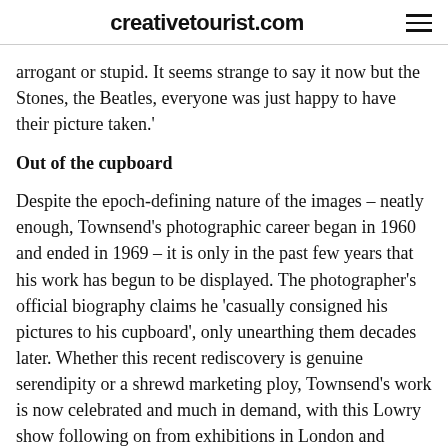creativetourist.com
arrogant or stupid. It seems strange to say it now but the Stones, the Beatles, everyone was just happy to have their picture taken.'
Out of the cupboard
Despite the epoch-defining nature of the images – neatly enough, Townsend's photographic career began in 1960 and ended in 1969 – it is only in the past few years that his work has begun to be displayed. The photographer's official biography claims he 'casually consigned his pictures to his cupboard', only unearthing them decades later. Whether this recent rediscovery is genuine serendipity or a shrewd marketing ploy, Townsend's work is now celebrated and much in demand, with this Lowry show following on from exhibitions in London and Birmingham...